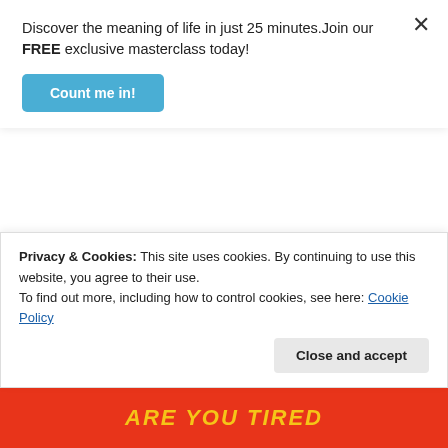Discover the meaning of life in just 25 minutes.Join our FREE exclusive masterclass today!
[Figure (illustration): Blue button labeled 'Count me in!']
[Figure (illustration): Blue promotional banner with text 'LEARN. MASTER. TRANSFORM. Enroll now in the best online Christian...' with a decorative Greek column illustration on the right and a gold crescent shape at top]
Privacy & Cookies: This site uses cookies. By continuing to use this website, you agree to their use.
To find out more, including how to control cookies, see here: Cookie Policy
[Figure (illustration): Close and accept button]
ARE YOU TIRED